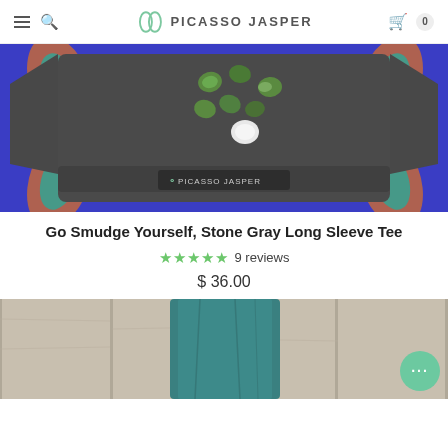PICASSO JASPER — navigation bar with hamburger, search, logo, cart (0)
[Figure (photo): A dark gray long sleeve tee laid flat on a colorful blue/orange/teal mandala-print fabric, with several green heart-shaped stones and one white heart-shaped stone arranged on top of the shirt. A dark label reads PICASSO JASPER near the bottom of the shirt.]
Go Smudge Yourself, Stone Gray Long Sleeve Tee
★★★★★ 9 reviews
$ 36.00
[Figure (photo): Partial view of another product — teal/blue colored fabric (appears to be pants or leggings) laid on a weathered wood plank background.]